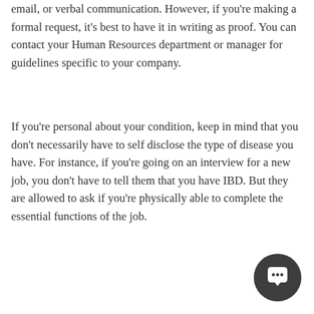email, or verbal communication. However, if you're making a formal request, it's best to have it in writing as proof. You can contact your Human Resources department or manager for guidelines specific to your company.
If you're personal about your condition, keep in mind that you don't necessarily have to self disclose the type of disease you have. For instance, if you're going on an interview for a new job, you don't have to tell them that you have IBD. But they are allowed to ask if you're physically able to complete the essential functions of the job.
[Figure (other): Chat button icon — dark circular button with speech bubble icon in white]